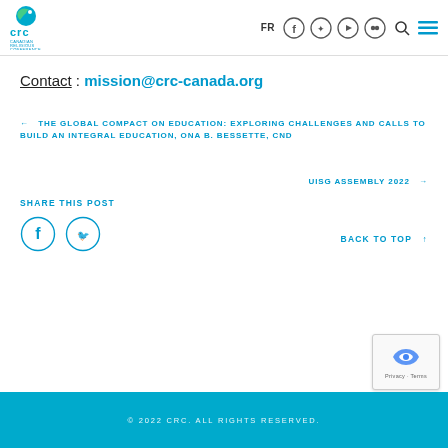[Figure (logo): CRC Canadian Religious Conference logo — blue/green bird icon with 'crc' text and 'CANADIAN RELIGIOUS CONFERENCE' subtitle]
Contact : mission@crc-canada.org
← THE GLOBAL COMPACT ON EDUCATION: EXPLORING CHALLENGES AND CALLS TO BUILD AN INTEGRAL EDUCATION, ONA B. BESSETTE, CND
UISG ASSEMBLY 2022 →
SHARE THIS POST
BACK TO TOP ↑
© 2022 CRC. ALL RIGHTS RESERVED.